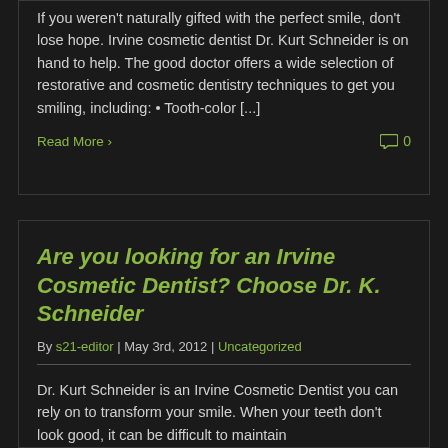If you weren't naturally gifted with the perfect smile, don't lose hope. Irvine cosmetic dentist Dr. Kurt Schneider is on hand to help. The good doctor offers a wide selection of restorative and cosmetic dentistry techniques to get you smiling, including: • Tooth-color [...]
Read More  0
Are you looking for an Irvine Cosmetic Dentist? Choose Dr. K. Schneider
By s21-editor | May 3rd, 2012 | Uncategorized
Dr. Kurt Schneider is an Irvine Cosmetic Dentist you can rely on to transform your smile. When your teeth don't look good, it can be difficult to maintain